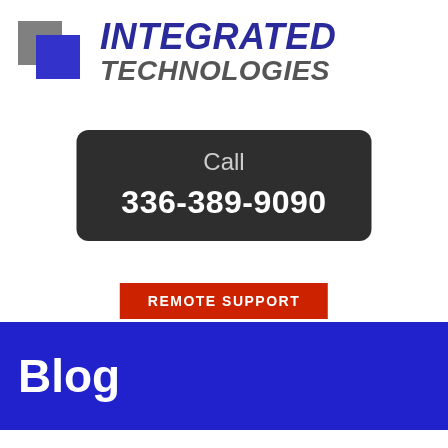[Figure (logo): Integrated Technologies logo with two overlapping squares (gray and blue) and bold italic text reading INTEGRATED TECHNOLOGIES]
Call
336-389-9090
REMOTE SUPPORT
Blog
4G Internet Is Headed To